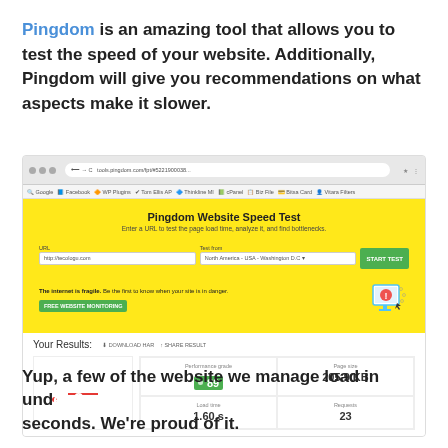Pingdom is an amazing tool that allows you to test the speed of your website. Additionally, Pingdom will give you recommendations on what aspects make it slower.
[Figure (screenshot): Screenshot of the Pingdom Website Speed Test tool showing a browser window with the Pingdom speed test interface. The yellow area shows the main tool with URL input field containing 'http://tecologu.com', test location 'North America - USA - Washington D.C', and a START TEST button. Below shows results: Performance grade 89, Page size 205.9 KB, Load time 1.60 s, Requests 23.]
Yup, a few of the website we manage load in under 2 seconds. We're proud of it.